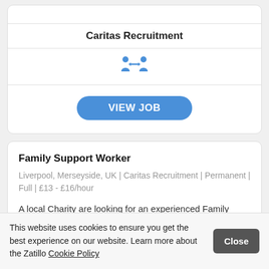Caritas Recruitment
[Figure (illustration): Two blue person figures facing each other with a double-headed arrow between them]
VIEW JOB
Family Support Worker
Liverpool, Merseyside, UK | Caritas Recruitment | Permanent | Full | £13 - £16/hour
A local Charity are looking for an experienced Family Support Worker to join them on a 3-month contract with possibility of being extended
This website uses cookies to ensure you get the best experience on our website. Learn more about the Zatillo Cookie Policy
Close